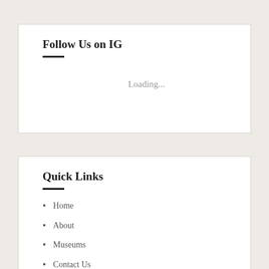Follow Us on IG
Loading...
Quick Links
Home
About
Museums
Contact Us
Privacy Policy